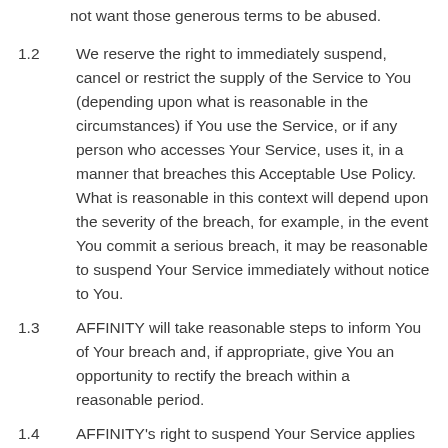not want those generous terms to be abused.
1.2  We reserve the right to immediately suspend, cancel or restrict the supply of the Service to You (depending upon what is reasonable in the circumstances) if You use the Service, or if any person who accesses Your Service, uses it, in a manner that breaches this Acceptable Use Policy. What is reasonable in this context will depend upon the severity of the breach, for example, in the event You commit a serious breach, it may be reasonable to suspend Your Service immediately without notice to You.
1.3  AFFINITY will take reasonable steps to inform You of Your breach and, if appropriate, give You an opportunity to rectify the breach within a reasonable period.
1.4  AFFINITY's right to suspend Your Service applies regardless of whether the breach or suspected